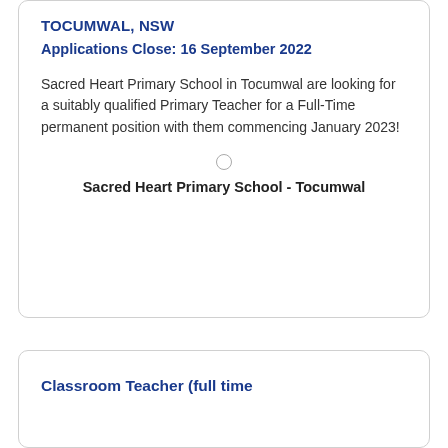TOCUMWAL, NSW
Applications Close: 16 September 2022
Sacred Heart Primary School in Tocumwal are looking for a suitably qualified Primary Teacher for a Full-Time permanent position with them commencing January 2023!
Sacred Heart Primary School - Tocumwal
Classroom Teacher (full time